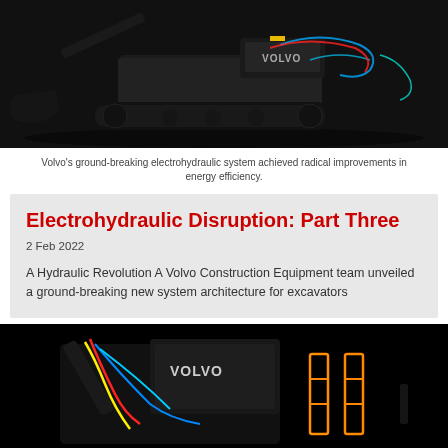[Figure (photo): Volvo excavator with electrohydraulic system highlighted in neon colors (red, blue, cyan lines) on dark background, VOLVO branding visible on machine, side view showing tracks and bucket]
Volvo's ground-breaking electrohydraulic system achieved radical improvements in energy efficiency.
Electrohydraulic Disruption: Part Three
2 Feb 2022
A Hydraulic Revolution A Volvo Construction Equipment team unveiled a ground-breaking new system architecture for excavators
[Figure (photo): Close-up of Volvo excavator with colorful neon highlighted hydraulic lines (red, blue, cyan, yellow, orange) on black background, VOLVO branding prominent, showing upper body and arm structure with orange rectangular frame elements in background]